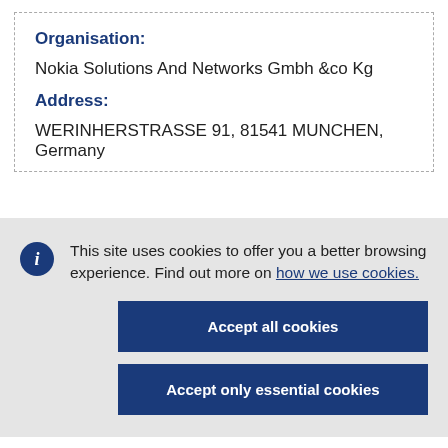Organisation:
Nokia Solutions And Networks Gmbh &co Kg
Address:
WERINHERSTRASSE 91, 81541 MUNCHEN, Germany
This site uses cookies to offer you a better browsing experience. Find out more on how we use cookies.
Accept all cookies
Accept only essential cookies